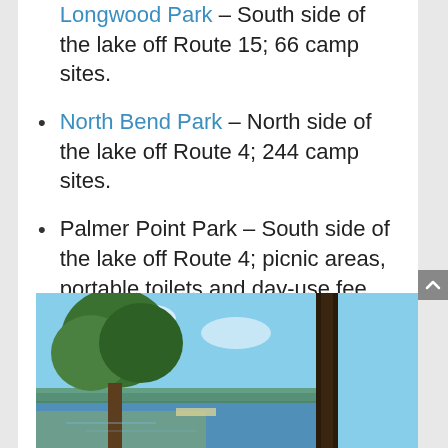Longwood Park – South side of the lake off Route 15; 66 camp sites.
North Bend Park – North side of the lake off Route 4; 244 camp sites.
Palmer Point Park – South side of the lake off Route 4; picnic areas, portable toilets and day-use fee.
Rudds Creek – North side of the lake off Route 58; picnic areas, flushing toilets and day-use fee.
[Figure (photo): Outdoor lakeside scene with tall pine trees in the foreground, a blue sky with clouds, and a lake visible in the background.]